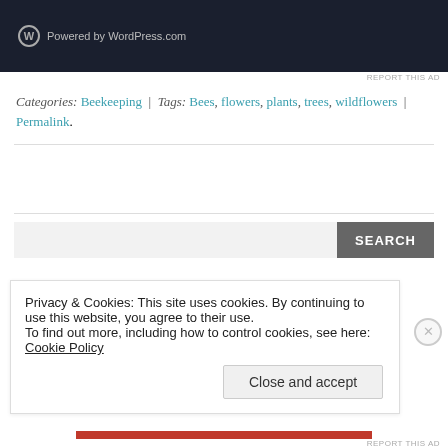[Figure (screenshot): WordPress.com dark banner with circular W logo and 'Powered by WordPress.com' text]
REPORT THIS AD
Categories: Beekeeping | Tags: Bees, flowers, plants, trees, wildflowers | Permalink.
SEARCH (search box with button)
Privacy & Cookies: This site uses cookies. By continuing to use this website, you agree to their use.
To find out more, including how to control cookies, see here: Cookie Policy
Close and accept
REPORT THIS AD